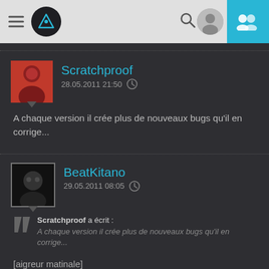[Figure (screenshot): Dark-themed mobile app top navigation bar with hamburger menu, circular logo, search icon, profile icon, and blue contacts/group icon on the right.]
Scratchproof
28.05.2011 21:50
A chaque version il crée plus de nouveaux bugs qu'il en corrige...
BeatKitano
29.05.2011 08:05
Scratchproof a écrit :
A chaque version il crée plus de nouveaux bugs qu'il en corrige...
[aigreur matinale]